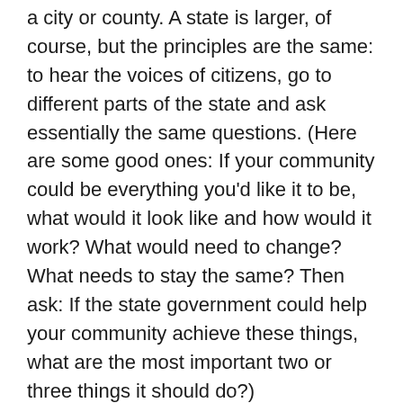a city or county. A state is larger, of course, but the principles are the same: to hear the voices of citizens, go to different parts of the state and ask essentially the same questions. (Here are some good ones: If your community could be everything you'd like it to be, what would it look like and how would it work? What would need to change? What needs to stay the same? Then ask: If the state government could help your community achieve these things, what are the most important two or three things it should do?)
But why ask a state political party to do it? Because it's the surest way of repairing our broken state politics. Nothing focuses attention like serious competition. If one political party is convening meetings across the state asking citizens what they need while the other is cozying with special interests and engaging in demagoguery, citizens will notice. And eventually so will the leaders of